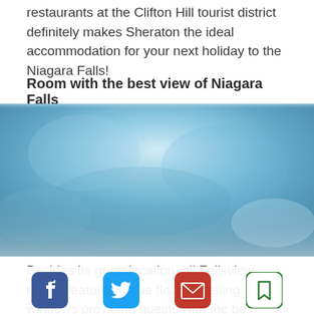restaurants at the Clifton Hill tourist district definitely makes Sheraton the ideal accommodation for your next holiday to the Niagara Falls!
Room with the best view of Niagara Falls
[Figure (photo): A blurred/bokeh photo of a hotel room or Niagara Falls view, predominantly blue and teal tones with soft gradients suggesting sky or water.]
Besides its great location, all Fallsview rooms feature unique floor-to-ceiling windows providing guests with the be
[Figure (infographic): Social sharing bar with four icons: Facebook (blue), Twitter (blue), Email/envelope (red), Bookmark (green outline)]